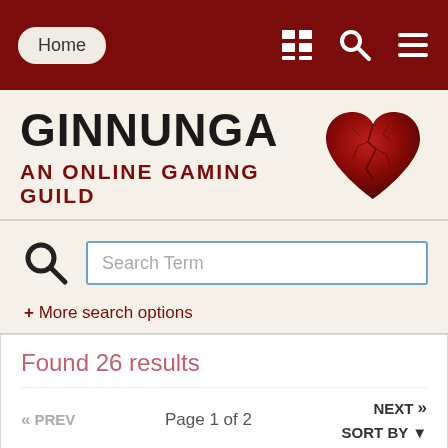Home | [nav icons]
GINNUNGA
AN ONLINE GAMING GUILD
[Figure (illustration): Red cracked heart logo for Ginnunga guild]
Search Term
+ More search options
Found 26 results
<< PREV   Page 1 of 2   NEXT >>  SORT BY▼